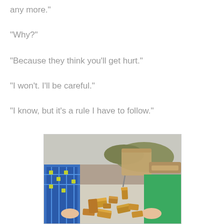any more."
"Why?"
"Because they think you'll get hurt."
"I won't. I'll be careful."
"I know, but it's a rule I have to follow."
[Figure (photo): Two children sitting at an outdoor table with wooden blocks scattered between them. One child wears a blue plaid vest, the other a green hoodie. A folding metal chair is visible in the background.]